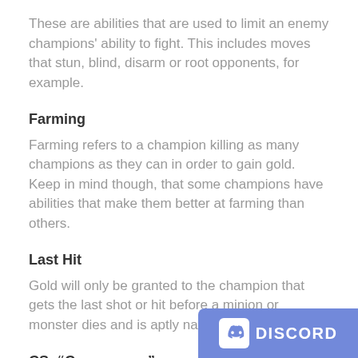These are abilities that are used to limit an enemy champions' ability to fight. This includes moves that stun, blind, disarm or root opponents, for example.
Farming
Farming refers to a champion killing as many champions as they can in order to gain gold. Keep in mind though, that some champions have abilities that make them better at farming than others.
Last Hit
Gold will only be granted to the champion that gets the last shot or hit before a minion or monster dies and is aptly named 'last hit.'
CS: “Creep score”
[Figure (logo): Discord logo badge with Discord mascot icon and DISCORD text on purple/blue background]